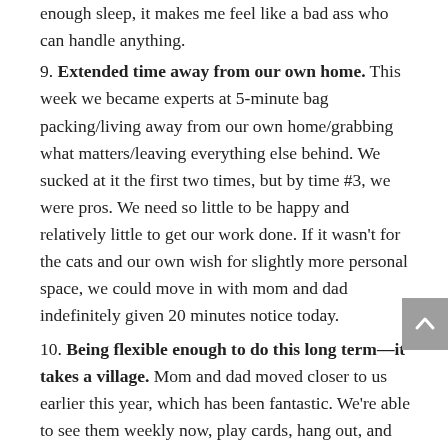enough sleep, it makes me feel like a bad ass who can handle anything.
9. Extended time away from our own home. This week we became experts at 5-minute bag packing/living away from our own home/grabbing what matters/leaving everything else behind. We sucked at it the first two times, but by time #3, we were pros. We need so little to be happy and relatively little to get our work done. If it wasn't for the cats and our own wish for slightly more personal space, we could move in with mom and dad indefinitely given 20 minutes notice today.
10. Being flexible enough to do this long term—it takes a village. Mom and dad moved closer to us earlier this year, which has been fantastic. We're able to see them weekly now, play cards, hang out, and help each other out as needed. But we still live 45 minutes apart, because they chose a neighborhood that has assisted living and memory care (for later on) in addition to the